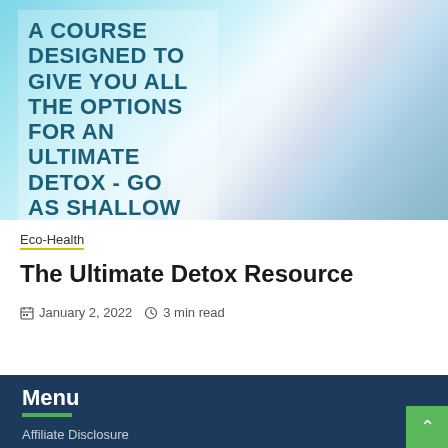[Figure (photo): Light blue gradient background with rainbow-like light refraction on the right side, overlaid with bold uppercase dark teal text reading: A COURSE DESIGNED TO GIVE YOU ALL THE OPTIONS FOR AN ULTIMATE DETOX - GO AS SHALLOW OR AS DEEP]
Eco-Health
The Ultimate Detox Resource
January 2, 2022   3 min read
Menu
Affiliate Disclosure
Amazon Affiliate Disclaimer